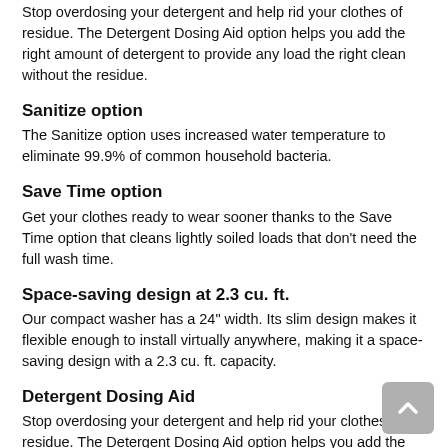Stop overdosing your detergent and help rid your clothes of residue. The Detergent Dosing Aid option helps you add the right amount of detergent to provide any load the right clean without the residue.
Sanitize option
The Sanitize option uses increased water temperature to eliminate 99.9% of common household bacteria.
Save Time option
Get your clothes ready to wear sooner thanks to the Save Time option that cleans lightly soiled loads that don't need the full wash time.
Space-saving design at 2.3 cu. ft.
Our compact washer has a 24" width. Its slim design makes it flexible enough to install virtually anywhere, making it a space-saving design with a 2.3 cu. ft. capacity.
Detergent Dosing Aid
Stop overdosing your detergent and help rid your clothes of residue. The Detergent Dosing Aid option helps you add the right amount of detergent to provide any load the right clean without the residue.